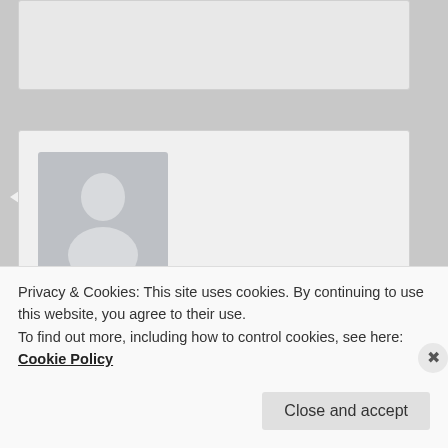[Figure (screenshot): Cropped top of a comment box, partially visible]
[Figure (photo): Default user avatar silhouette on grey background]
juan on June 30, 2018 at 1:19 AM said:
Hi . I began zc 8 months ago mainly due to psoriasis. I had it for 10 years.
After blood test we discover I have low dao, so histamines are a problem. Along this years I ve tried everything from vegan to supllements, to paleo to zc. try daosin for a while.
Privacy & Cookies: This site uses cookies. By continuing to use this website, you agree to their use.
To find out more, including how to control cookies, see here: Cookie Policy
Close and accept